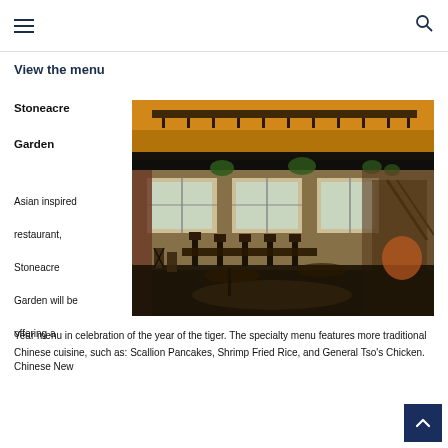Navigation menu and search icon
View the menu
Stoneacre Garden
[Figure (photo): Interior of Stoneacre Garden restaurant showing dining area with warm amber lighting from overhead fixtures, large windows, exposed ceiling with plants, bar seating, and wood-and-metal chairs at tables.]
Asian inspired restaurant, Stoneacre Garden will be offering a Chinese New Year menu in celebration of the year of the tiger. The specialty menu features more traditional Chinese cuisine, such as: Scallion Pancakes, Shrimp Fried Rice, and General Tso's Chicken.